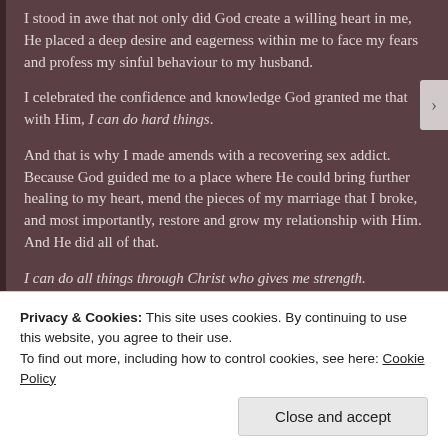I stood in awe that not only did God create a willing heart in me, He placed a deep desire and eagerness within me to face my fears and profess my sinful behaviour to my husband.
I celebrated the confidence and knowledge God granted me that with Him, I can do hard things.
And that is why I made amends with a recovering sex addict. Because God guided me to a place where He could bring further healing to my heart, mend the pieces of my marriage that I broke, and most importantly, restore and grow my relationship with Him. And He did all of that.
I can do all things through Christ who gives me strength. Philippians 4:13
Advertisements
Privacy & Cookies: This site uses cookies. By continuing to use this website, you agree to their use.
To find out more, including how to control cookies, see here: Cookie Policy
Close and accept